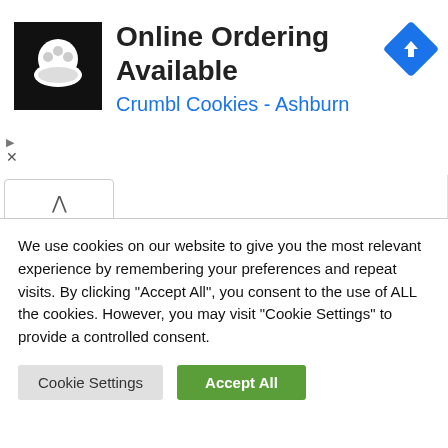[Figure (screenshot): Ad banner for Crumbl Cookies - Ashburn with cookie logo, navigation arrow icon, and ad controls]
Online Ordering Available
Crumbl Cookies - Ashburn
[Figure (screenshot): Collapsed comment thread with avatar of pixel art alien character, username Daft Aider, posted 6 years ago]
and next up, on this weeks episode of “state the bleedin obvious” .........
We use cookies on our website to give you the most relevant experience by remembering your preferences and repeat visits. By clicking “Accept All”, you consent to the use of ALL the cookies. However, you may visit “Cookie Settings” to provide a controlled consent.